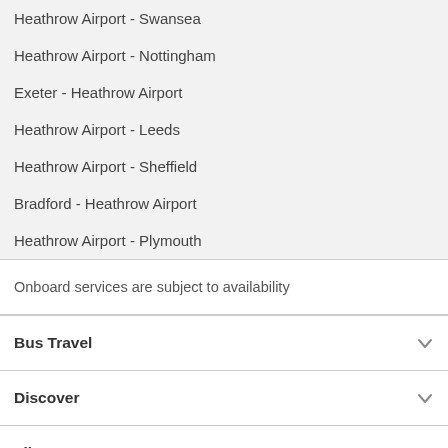Heathrow Airport - Swansea
Heathrow Airport - Nottingham
Exeter - Heathrow Airport
Heathrow Airport - Leeds
Heathrow Airport - Sheffield
Bradford - Heathrow Airport
Heathrow Airport - Plymouth
Onboard services are subject to availability
Bus Travel
Discover
FlixBus